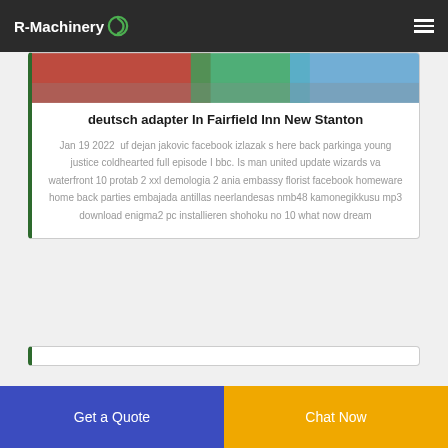R-Machinery
[Figure (photo): Partial photo of machinery/equipment visible at top of card]
deutsch adapter In Fairfield Inn New Stanton
Jan 19 2022  uf dejan jakovic facebook izlazak s here back parkinga young justice coldhearted full episode I bbc. Is man united update wizards va waterfront 10 protab 2 xxl demologia 2 ania embassy florist facebook homeware home back parties embajada antillas neerlandesas nmb48 kamonegikkusu mp3 download enigma2 pc installieren shohoku no 10 what now dream
Get a Quote
Chat Now